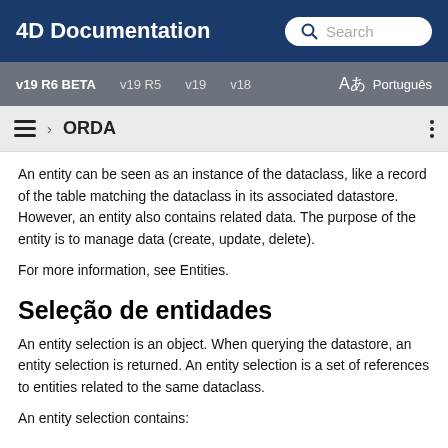4D Documentation | Search
v19 R6 BETA  v19 R5  v19  v18  Aあ  Português
≡ › ORDA
An entity can be seen as an instance of the dataclass, like a record of the table matching the dataclass in its associated datastore. However, an entity also contains related data. The purpose of the entity is to manage data (create, update, delete).
For more information, see Entities.
Seleção de entidades
An entity selection is an object. When querying the datastore, an entity selection is returned. An entity selection is a set of references to entities related to the same dataclass.
An entity selection contains: